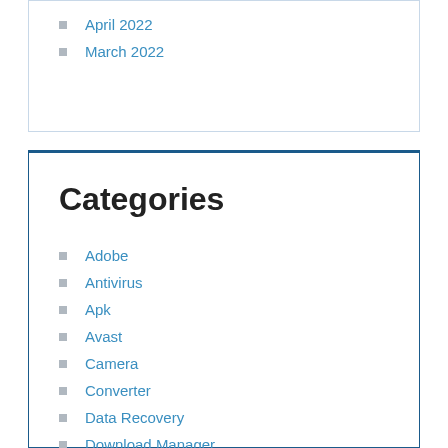April 2022
March 2022
Categories
Adobe
Antivirus
Apk
Avast
Camera
Converter
Data Recovery
Download Manager
Driver